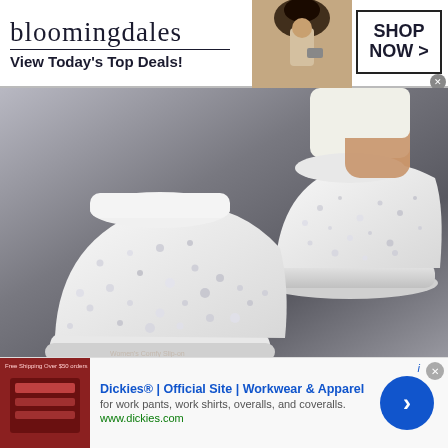[Figure (advertisement): Bloomingdale's banner ad with logo, tagline 'View Today's Top Deals!', fashion model photo, and 'SHOP NOW >' button]
[Figure (photo): Product photo of white rhinestone-studded women's slip-on sneakers/sandals against a gray background, shown as two shoes from different angles]
The Comfy Women's Sandals Are Taking
[Figure (advertisement): Dickies banner ad with thumbnail image, text 'Dickies® | Official Site | Workwear & Apparel', 'for work pants, work shirts, overalls, and coveralls.', 'www.dickies.com', and blue circular CTA arrow button]